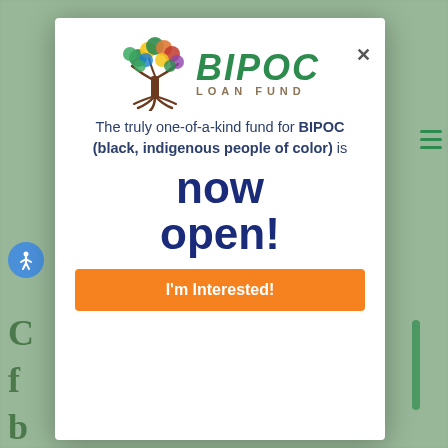[Figure (logo): BIPOC Loan Fund logo: a tree with colorful leaves on the left, and 'BIPOC' in large bold green text with 'LOAN FUND' in smaller brown/tan spaced letters below]
The truly one-of-a-kind fund for BIPOC (black, indigenous people of color) is
now open!
I'm Interested!